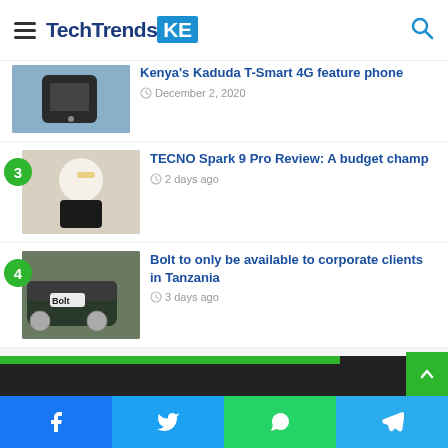TechTrendsKE
Kenya's Kaduda T-Smart 4G feature phone — December 2, 2020
TECNO Spark 9 Pro Review: A budget champ — 2 days ago
Bolt to only be available to corporate clients in Tanzania — 3 days ago
[Figure (screenshot): Social share bar with Facebook, Twitter, WhatsApp, Telegram icons at the bottom of the page]